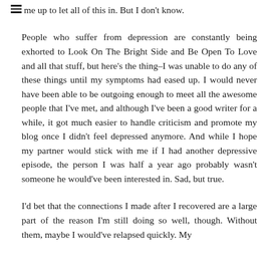me up to let all of this in. But I don't know.
People who suffer from depression are constantly being exhorted to Look On The Bright Side and Be Open To Love and all that stuff, but here's the thing–I was unable to do any of these things until my symptoms had eased up. I would never have been able to be outgoing enough to meet all the awesome people that I've met, and although I've been a good writer for a while, it got much easier to handle criticism and promote my blog once I didn't feel depressed anymore. And while I hope my partner would stick with me if I had another depressive episode, the person I was half a year ago probably wasn't someone he would've been interested in. Sad, but true.
I'd bet that the connections I made after I recovered are a large part of the reason I'm still doing so well, though. Without them, maybe I would've relapsed quickly. My